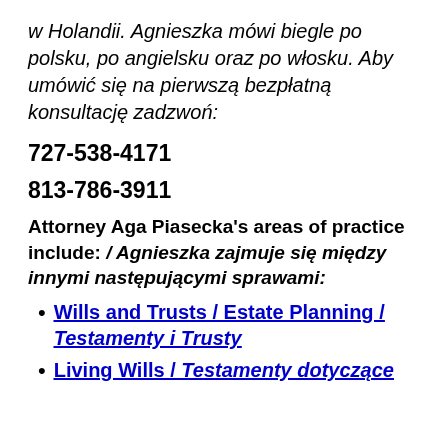w Holandii. Agnieszka mówi biegle po polsku, po angielsku oraz po włosku. Aby umówić się na pierwszą bezpłatną konsultację zadzwoń:
727-538-4171
813-786-3911
Attorney Aga Piasecka's areas of practice include: / Agnieszka zajmuje się między innymi następującymi sprawami:
Wills and Trusts / Estate Planning / Testamenty i Trusty
Living Wills / Testamenty dotyczące